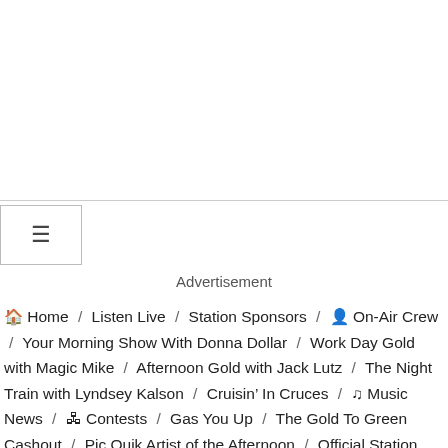[Figure (other): Top banner/advertisement area, white with bottom border]
≡ (hamburger menu icon)
Advertisement
🏠 Home / Listen Live / Station Sponsors / 👤 On-Air Crew / Your Morning Show With Donna Dollar / Work Day Gold with Magic Mike / Afternoon Gold with Jack Lutz / The Night Train with Lyndsey Kalson / Cruisin' In Cruces / ♫ Music News / 🐷 Contests / Gas You Up / The Gold To Green Cashout / Pic Quik Artist of the Afternoon / Official Station Rules and Regulations / 🤜 Community Giveback / Stuff the Bus for Las Cruces Public Schools 2022 / Spring Into Action Food Drive / Dollar's Donuts / Coats for Kids Las Cruces / Santa Paws 2021 / Las Cruces Today / Contact Us